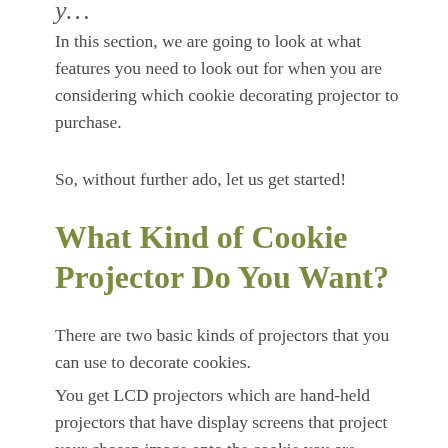In this section, we are going to look at what features you need to look out for when you are considering which cookie decorating projector to purchase.
So, without further ado, let us get started!
What Kind of Cookie Projector Do You Want?
There are two basic kinds of projectors that you can use to decorate cookies.
You get LCD projectors which are hand-held projectors that have display screens that project your chosen image onto the cookie you are